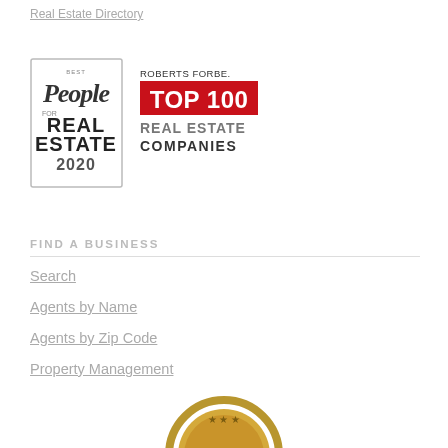Real Estate Directory
[Figure (logo): Best People for Real Estate 2020 badge - circular badge with stylized People magazine style text and year 2020]
[Figure (logo): Roberts Forbes Top 100 Real Estate Companies badge with red background for TOP 100]
FIND A BUSINESS
Search
Agents by Name
Agents by Zip Code
Property Management
[Figure (logo): Gold/bronze circular award badge (partially visible at bottom of page)]